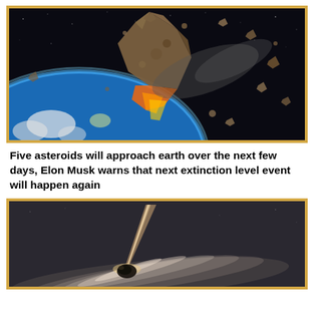[Figure (illustration): Dramatic space illustration showing large asteroids approaching Earth, with the planet's blue atmosphere visible in the background. Multiple rocky asteroids of various sizes are depicted against a dark space background.]
Five asteroids will approach earth over the next few days, Elon Musk warns that next extinction level event will happen again
[Figure (illustration): Space illustration showing a glowing asteroid or comet with a bright beam of light and swirling debris field around a dark spherical object against a dark grey space background.]